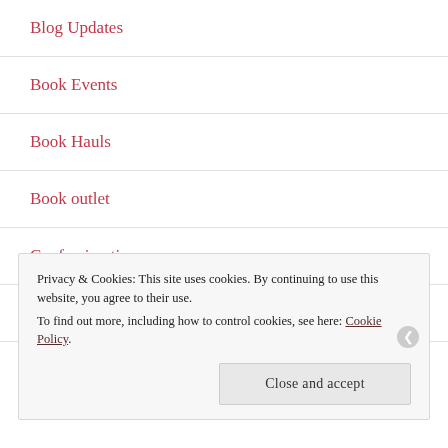Blog Updates
Book Events
Book Hauls
Book outlet
Confession time
Hedgeathon
Lists
Privacy & Cookies: This site uses cookies. By continuing to use this website, you agree to their use.
To find out more, including how to control cookies, see here: Cookie Policy